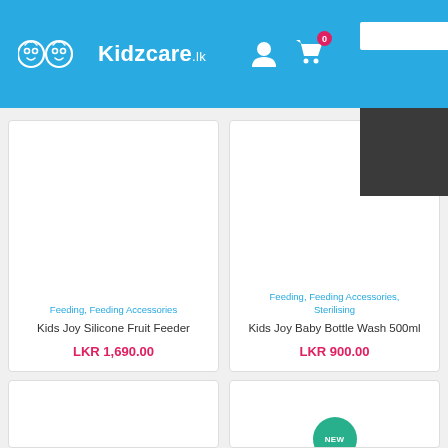Kidzcare.lk
[Figure (screenshot): Product card: Kids Joy Silicone Fruit Feeder, categories: Feeding, Feeding Accessories, price: LKR 1,690.00]
Feeding, Feeding Accessories
Kids Joy Silicone Fruit Feeder
LKR 1,690.00
[Figure (screenshot): Product card: Kids Joy Baby Bottle Wash 500ml, categories: Feeding, Feeding Accessories, Sterilising, price: LKR 900.00]
Feeding, Feeding Accessories, Sterilising
Kids Joy Baby Bottle Wash 500ml
LKR 900.00